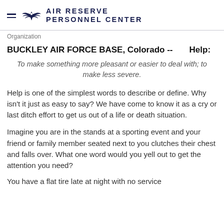AIR RESERVE PERSONNEL CENTER
Organization
BUCKLEY AIR FORCE BASE, Colorado --        Help:
To make something more pleasant or easier to deal with; to make less severe.
Help is one of the simplest words to describe or define. Why isn't it just as easy to say? We have come to know it as a cry or last ditch effort to get us out of a life or death situation.
Imagine you are in the stands at a sporting event and your friend or family member seated next to you clutches their chest and falls over. What one word would you yell out to get the attention you need?
You have a flat tire late at night with no service...